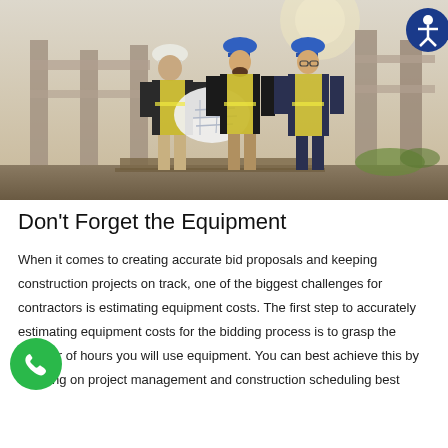[Figure (photo): Three construction workers in yellow safety vests and hard hats reviewing blueprints at a construction site with concrete pillars in the background. An accessibility icon appears in the top-right corner.]
Don't Forget the Equipment
When it comes to creating accurate bid proposals and keeping construction projects on track, one of the biggest challenges for contractors is estimating equipment costs. The first step to accurately estimating equipment costs for the bidding process is to grasp the number of hours you will use equipment. You can best achieve this by focusing on project management and construction scheduling best